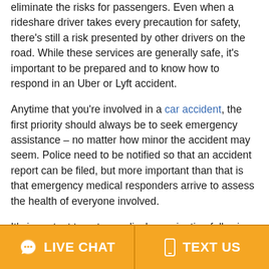eliminate the risks for passengers. Even when a rideshare driver takes every precaution for safety, there's still a risk presented by other drivers on the road. While these services are generally safe, it's important to be prepared and to know how to respond in an Uber or Lyft accident.
Anytime that you're involved in a car accident, the first priority should always be to seek emergency assistance – no matter how minor the accident may seem. Police need to be notified so that an accident report can be filed, but more important than that is that emergency medical responders arrive to assess the health of everyone involved.
It's important to get a medical examination following an accident, even if you don't feel that you've sustained any injuries. It often happens that injuries can take a day or two to manifest physical symptoms, and turning do
LIVE CHAT   TEXT US